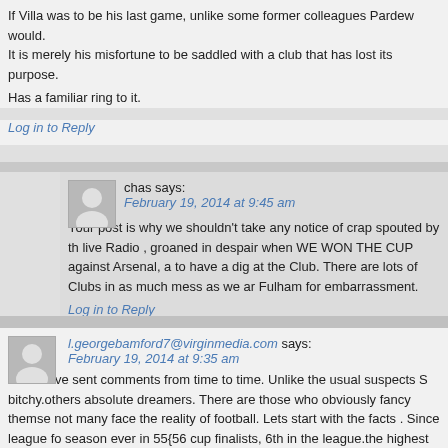If Villa was to be his last game, unlike some former colleagues Pardew would. It is merely his misfortune to be saddled with a club that has lost its purpose. still won't mean they care."
Has a familiar ring to it.
Log in to Reply
chas says:
February 19, 2014 at 9:45 am
Your post is why we shouldn't take any notice of crap spouted by the live Radio , groaned in despair when WE WON THE CUP against Arsenal, a to have a dig at the Club. There are lots of Clubs in as much mess as we ar Fulham for embarrassment.
Log in to Reply
l.georgebamford7@virginmedia.com says:
February 19, 2014 at 9:35 am
I have sent comments from time to time. Unlike the usual suspects S bitchy.others absolute dreamers. There are those who obviously fancy themse not many face the reality of football. Lets start with the facts . Since league fo season ever in 55{56 cup finalists, 6th in the league.the highest ever. There ar with dismal ones. We come in the last list.. I can only think o a small number o every club, managers come and go. The clubs record of handling staff is terrib